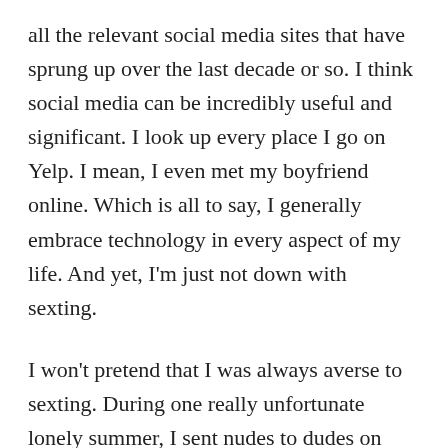all the relevant social media sites that have sprung up over the last decade or so. I think social media can be incredibly useful and significant. I look up every place I go on Yelp. I mean, I even met my boyfriend online. Which is all to say, I generally embrace technology in every aspect of my life. And yet, I'm just not down with sexting.
I won't pretend that I was always averse to sexting. During one really unfortunate lonely summer, I sent nudes to dudes on Craigslist. When my boyfriend and I first started dating, I